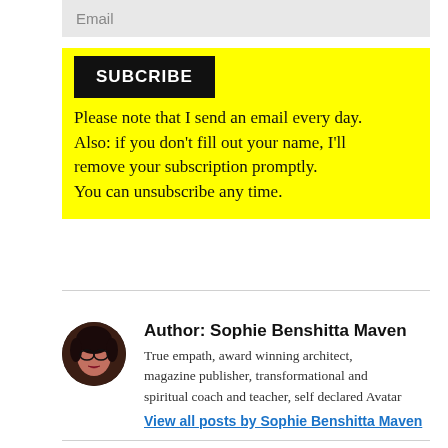Email
SUBCRIBE
Please note that I send an email every day. Also: if you don't fill out your name, I'll remove your subscription promptly. You can unsubscribe any time.
[Figure (photo): Circular avatar photo of Sophie Benshitta Maven, a woman with glasses]
Author: Sophie Benshitta Maven
True empath, award winning architect, magazine publisher, transformational and spiritual coach and teacher, self declared Avatar
View all posts by Sophie Benshitta Maven